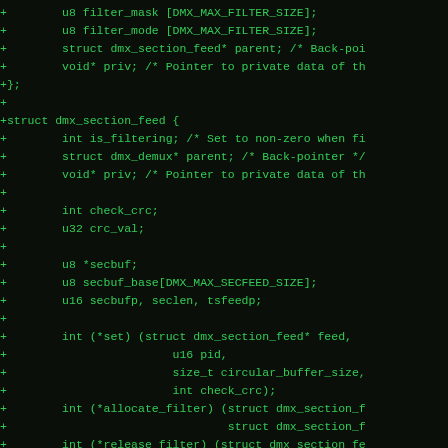[Figure (screenshot): Terminal/code diff view showing C struct definitions for dmx_section_feed and dmx_section_filter with green monospace font on black background. Lines prefixed with '+' indicating additions in a diff.]